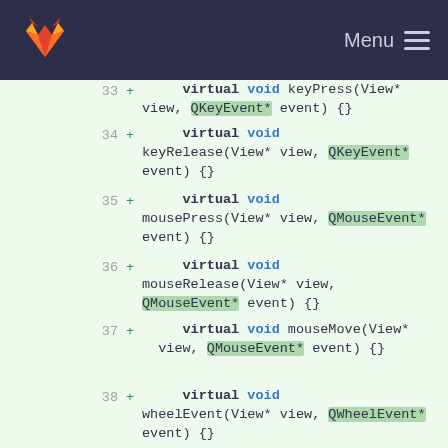[Figure (screenshot): GitLab navigation bar with fox logo and Menu button]
33 + virtual void keyPress(View* view, QKeyEvent* event) {}
34 + virtual void keyRelease(View* view, QKeyEvent* event) {}
35 + virtual void mousePress(View* view, QMouseEvent* event) {}
36 + virtual void mouseRelease(View* view, QMouseEvent* event) {}
37 + virtual void mouseMove(View* view, QMouseEvent* event) {}
38 + virtual void wheelEvent(View* view, QWheelEvent* event) {}
39 39
40 40 public slots:
41 41 void
openComputeNormalDialog();